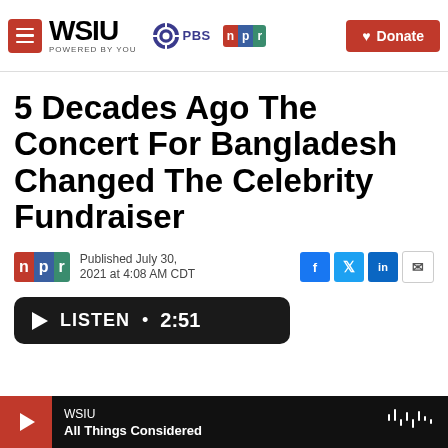WSIU | Powered By You | PBS | NPR | Donate
5 Decades Ago The Concert For Bangladesh Changed The Celebrity Fundraiser
Published July 30, 2021 at 4:08 AM CDT
LISTEN • 2:51
WSIU | All Things Considered